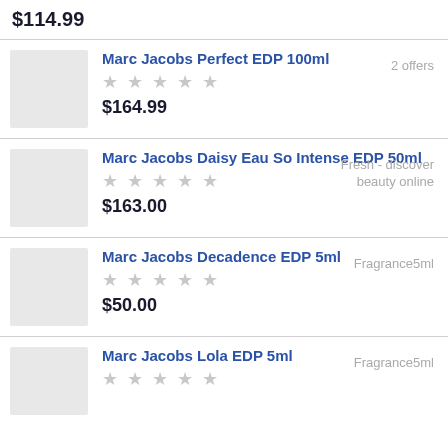$114.99
Marc Jacobs Perfect EDP 100ml | 2 offers | ★★★★★ | $164.99
Marc Jacobs Daisy Eau So Intense EDP 50ml | Fresh - discover beauty online | ★★★★★ | $163.00
Marc Jacobs Decadence EDP 5ml | Fragrance5ml | ★★★★★ | $50.00
Marc Jacobs Lola EDP 5ml | Fragrance5ml | ★★★★★